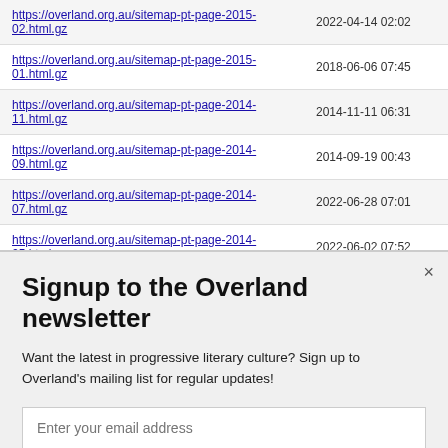| URL | Last Modified |
| --- | --- |
| https://overland.org.au/sitemap-pt-page-2015-02.html.gz | 2022-04-14 02:02 |
| https://overland.org.au/sitemap-pt-page-2015-01.html.gz | 2018-06-06 07:45 |
| https://overland.org.au/sitemap-pt-page-2014-11.html.gz | 2014-11-11 06:31 |
| https://overland.org.au/sitemap-pt-page-2014-09.html.gz | 2014-09-19 00:43 |
| https://overland.org.au/sitemap-pt-page-2014-07.html.gz | 2022-06-28 07:01 |
| https://overland.org.au/sitemap-pt-page-2014-05.html.gz | 2022-06-02 07:52 |
| https://overland.org.au/sitemap-pt-page-2014-04.html.gz | 2016-07-01 03:44 |
| https://overland.org.au/sitemap-pt-page-2013-11.html.gz | 2013-11-13 04:58 |
| https://overland.org.au/sitemap-pt-page-2013-10.html.gz | 2014-11-11 01:13 |
| https://overland.org.au/sitemap-pt-page-2013-06.html.gz | 2013-06-03 03:59 |
Signup to the Overland newsletter
Want the latest in progressive literary culture? Sign up to Overland's mailing list for regular updates!